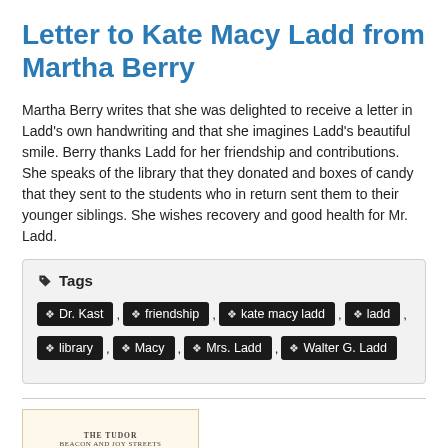Letter to Kate Macy Ladd from Martha Berry
Martha Berry writes that she was delighted to receive a letter in Ladd's own handwriting and that she imagines Ladd's beautiful smile. Berry thanks Ladd for her friendship and contributions. She speaks of the library that they donated and boxes of candy that they sent to the students who in return sent them to their younger siblings. She wishes recovery and good health for Mr. Ladd.
| Tags |
| --- |
| Dr. Kast | friendship | kate macy ladd | ladd | library | Macy | Mrs. Ladd | Walter G. Ladd |
[Figure (photo): Partial view of a letter on Tudor Hotel letterhead, showing 'THE TUDOR BEACON AND JOY STREETS']